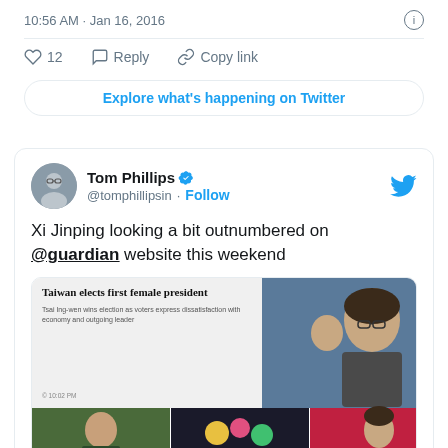10:56 AM · Jan 16, 2016
♡ 12   Reply   Copy link
Explore what's happening on Twitter
Tom Phillips @tomphillipsin · Follow
Xi Jinping looking a bit outnumbered on @guardian website this weekend
[Figure (screenshot): Screenshot of Guardian website showing 'Taiwan elects first female president' headline with photo of Tsai Ing-wen waving, and three smaller images below including Xi Jinping and Taiwan election related photos]